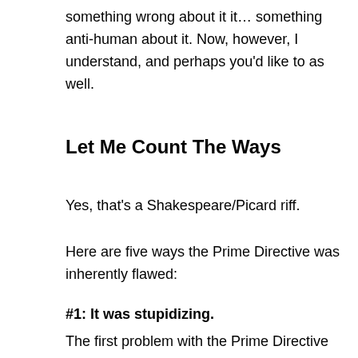something wrong about it it… something anti-human about it. Now, however, I understand, and perhaps you'd like to as well.
Let Me Count The Ways
Yes, that's a Shakespeare/Picard riff.
Here are five ways the Prime Directive was inherently flawed:
#1: It was stupidizing.
The first problem with the Prime Directive was that it made the captains stupid. Rather than doing what they looked to be doing, they had to pretend with...